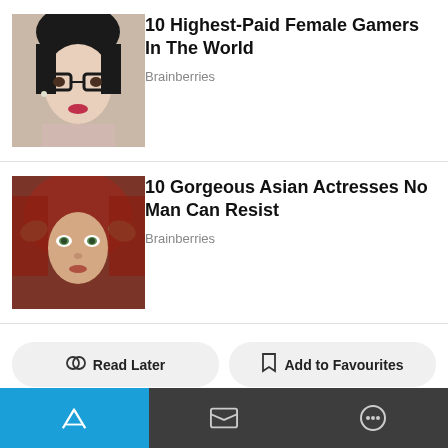[Figure (photo): Photo of a woman with glasses and dark hair styled up, wearing a light top, selfie style]
10 Highest-Paid Female Gamers In The World
Brainberries
[Figure (photo): Photo of a woman with green eyes wearing a dark red head covering, pulling it around her face]
10 Gorgeous Asian Actresses No Man Can Resist
Brainberries
Read Later
Add to Favourites
Add to Collection
Report
The statements, views and opinions expressed in this column are solely those of the author